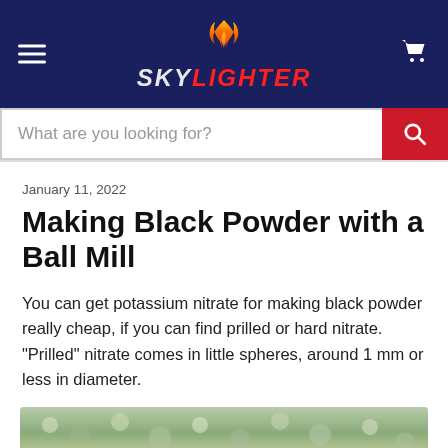SKYLIGHTER
What are you looking for?
January 11, 2022
Making Black Powder with a Ball Mill
You can get potassium nitrate for making black powder really cheap, if you can find prilled or hard nitrate. "Prilled" nitrate comes in little spheres, around 1 mm or less in diameter.
[Figure (photo): Close-up photo of prilled potassium nitrate spheres]